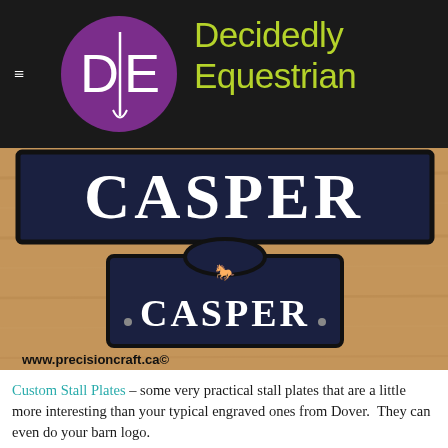Decidedly Equestrian
[Figure (photo): Two custom blue stall plates reading CASPER on a wood background, with www.precisioncraft.ca© watermark]
Custom Stall Plates – some very practical stall plates that are a little more interesting than your typical engraved ones from Dover.  They can even do your barn logo.